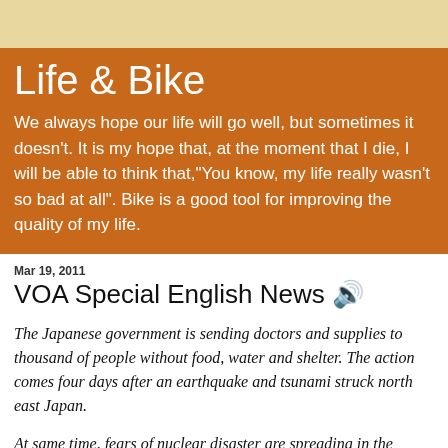Life & Bike
We always hope our life will go well, but sometimes it doesn't. It is my hope that, at the moment that I die, I will be able to think that,"You know, my life really wasn't so bad at all". Bike is a good tool for improving the quality of my life.
Mar 19, 2011
VOA Special English News 🔊
The Japanese government is sending doctors and supplies to thousand of people without food, water and shelter. The action comes four days after an earthquake and tsunami struck north east Japan.
At same time, fears of nuclear disaster are spreading in the nation. United nation's official told VOA Tuesday, that she has not seen a crisis like this before. Television pictures from the Japanese city of Sendai show people standing in lines